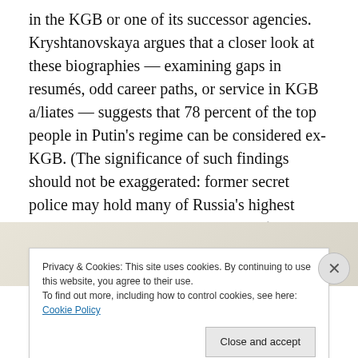in the KGB or one of its successor agencies. Kryshtanovskaya argues that a closer look at these biographies — examining gaps in résumés, odd career paths, or service in KGB a/liates — suggests that 78 percent of the top people in Putin's regime can be considered ex-KGB. (The significance of such findings should not be exaggerated: former secret police may hold many of Russia's highest o/ces, but Russia is not a police state.)
[Figure (photo): Partially visible photograph behind cookie consent banner]
Privacy & Cookies: This site uses cookies. By continuing to use this website, you agree to their use.
To find out more, including how to control cookies, see here: Cookie Policy
Close and accept